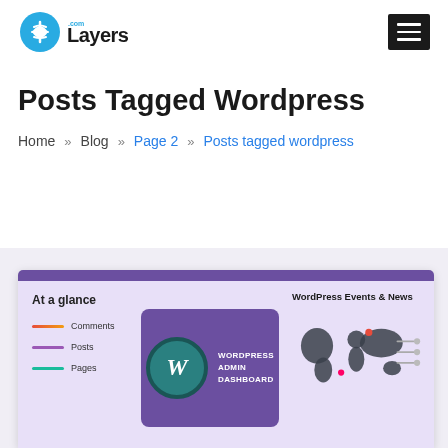Layers.com – navigation header with hamburger menu
Posts Tagged Wordpress
Home » Blog » Page 2 » Posts tagged wordpress
[Figure (screenshot): WordPress Admin Dashboard preview screenshot showing 'At a glance' panel with colored legend lines for Comments, Posts, Pages; a purple badge with WordPress logo and text 'WORDPRESS ADMIN DASHBOARD'; and a 'WordPress Events & News' panel with world map and event listings.]